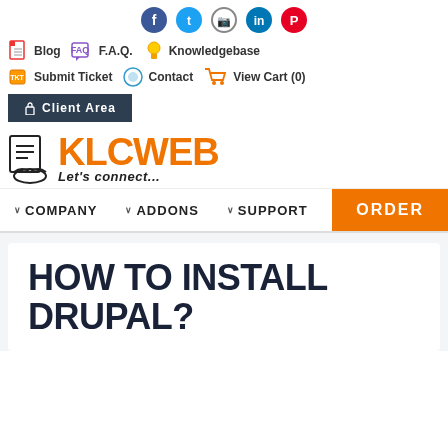[Figure (infographic): Social media icons row: Facebook, Twitter, Instagram, LinkedIn, Pinterest]
Blog  F.A.Q.  Knowledgebase  Submit Ticket  Contact  View Cart (0)
[Figure (logo): KLCWEB logo with document/cloud icon and tagline Let's connect...]
Client Area
COMPANY  ADDONS  SUPPORT  ORDER
HOW TO INSTALL DRUPAL?